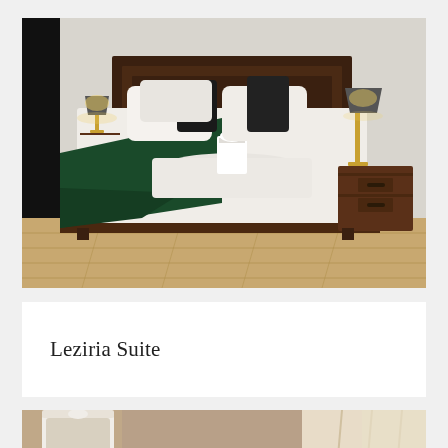[Figure (photo): Hotel bedroom with a large wooden bed frame, white bedding, dark green throw blanket, white pillows with black accent pillows, bedside lamps with grey shades on wooden nightstands, light hardwood floor.]
Leziria Suite
[Figure (photo): Partial view of another room, showing ornate white-framed mirror and curtains in warm tones.]